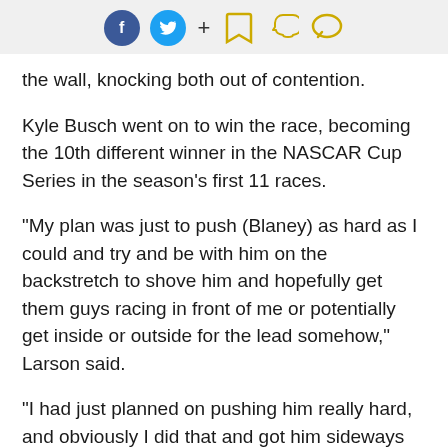[Social share icons: Facebook, Twitter, +, Bookmark, Snapchat, Chat]
the wall, knocking both out of contention.
Kyle Busch went on to win the race, becoming the 10th different winner in the NASCAR Cup Series in the season’s first 11 races.
“My plan was just to push (Blaney) as hard as I could and try and be with him on the backstretch to shove him and hopefully get them guys racing in front of me or potentially get inside or outside for the lead somehow,” Larson said.
“I had just planned on pushing him really hard, and obviously I did that and got him sideways and ended up getting us both in the wall. Probably should have just laid off once I got to the corner and hopefully a run came to where I could get to